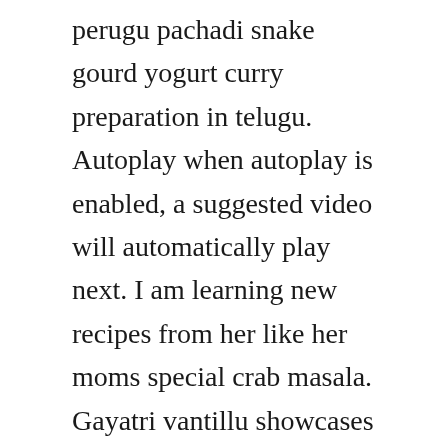perugu pachadi snake gourd yogurt curry preparation in telugu. Autoplay when autoplay is enabled, a suggested video will automatically play next. I am learning new recipes from her like her moms special crab masala. Gayatri vantillu showcases indian recipes andhra food telugu vantalu, with a motto cooking simplified is fun. Are you searching for snake gourd curd chutney or potlakaya perugu pachadi recipe. Vankaya perugu pachadi recipe, how to make vankaya perugu. Kakarakaya pachadi bittergourd